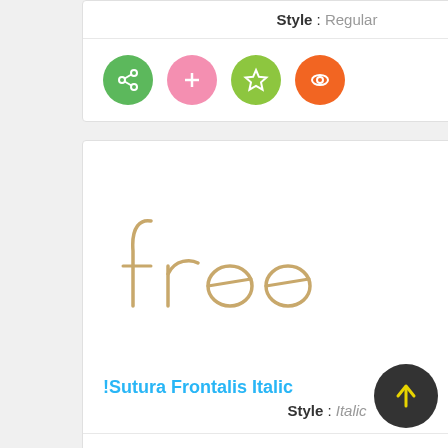Style : Regular
[Figure (illustration): Four colored circle icon buttons: green share, pink plus, green star, red/orange eye]
[Figure (illustration): Font preview showing 'free' in !Sutura Frontalis Italic handwritten style in a warm tan/gold color]
!Sutura Frontalis Italic
Style : Italic
[Figure (illustration): Four colored circle icon buttons: green share, pink plus, green star, red/orange eye]
[Figure (illustration): Dark circle scroll-to-top button with yellow upward arrow]